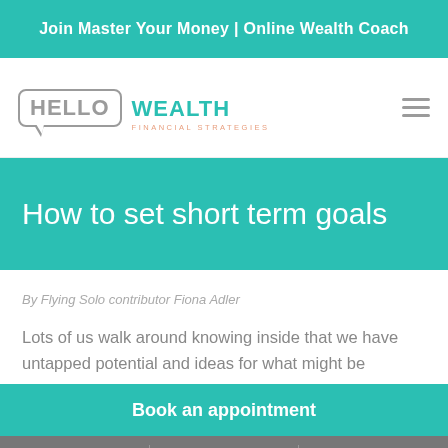Join Master Your Money | Online Wealth Coach
[Figure (logo): Hello Wealth Financial Strategies logo with speech bubble design]
How to set short term goals
By Flying Solo contributor Fiona Adler
Lots of us walk around knowing inside that we have untapped potential and ideas for what might be
Book an appointment
MAPS   CALL   EMAIL